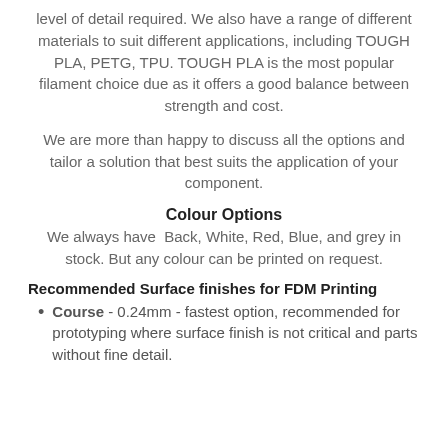level of detail required. We also have a range of different materials to suit different applications, including TOUGH PLA, PETG, TPU. TOUGH PLA is the most popular filament choice due as it offers a good balance between strength and cost.
We are more than happy to discuss all the options and tailor a solution that best suits the application of your component.
Colour Options
We always have Back, White, Red, Blue, and grey in stock. But any colour can be printed on request.
Recommended Surface finishes for FDM Printing
Course - 0.24mm - fastest option, recommended for prototyping where surface finish is not critical and parts without fine detail.